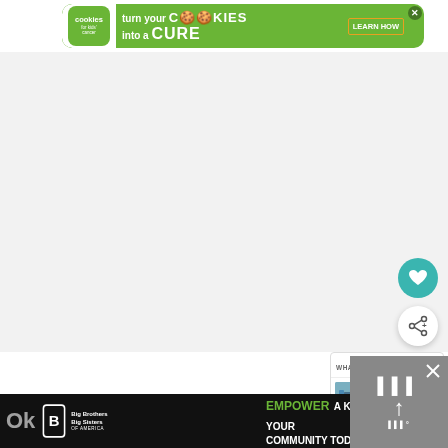[Figure (illustration): Cookies for Kids' Cancer banner advertisement with green background. Shows cookies logo on left with text 'turn your COOKIES into a CURE LEARN HOW' in white text. Close X button in corner.]
[Figure (illustration): Large white/gray empty content area in the middle of the page, likely where article content would load.]
[Figure (illustration): Teal circular floating action button with heart icon on right side.]
[Figure (illustration): White circular floating action button with share icon on right side.]
[Figure (illustration): What's Next panel showing a beach bag tutorial recommendation with thumbnail image and arrow.]
[Figure (illustration): Bottom bar with Big Brothers Big Sisters logo and 'Ok' text partially visible.]
[Figure (illustration): Bottom banner ad: 'EMPOWER A KID IN YOUR COMMUNITY TODAY.' with Learn How button and close X. Big Brothers Big Sisters branding.]
[Figure (illustration): Right side gray panel with navigation dots, upward arrow, and an X close button.]